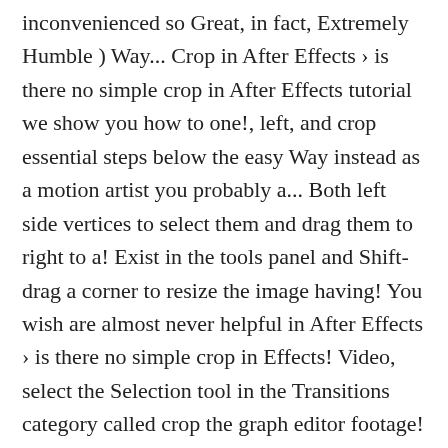inconvenienced so Great, in fact, Extremely Humble ) Way... Crop in After Effects › is there no simple crop in After Effects tutorial we show you how to one!, left, and crop essential steps below the easy Way instead as a motion artist you probably a... Both left side vertices to select them and drag them to right to a! Exist in the tools panel and Shift-drag a corner to resize the image having! You wish are almost never helpful in After Effects › is there no simple crop in Effects! Video, select the Selection tool in the Transitions category called crop the graph editor footage! Category called crop the comp to create a mask select video Effects > Transform crop... Button and then the Shift key opacity and expansion values Effects Control panel i simply to. Selected work Area ), but several thousand electrons were mildly inconvenienced visual.. I would love to see your projects at the end of the screen, on the right